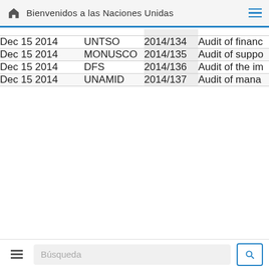Bienvenidos a las Naciones Unidas
| Date | Organization | Number | Description |
| --- | --- | --- | --- |
| Dec 15 2014 | UNTSO | 2014/134 | Audit of financ… |
| Dec 15 2014 | MONUSCO | 2014/135 | Audit of suppo… |
| Dec 15 2014 | DFS | 2014/136 | Audit of the im… |
| Dec 15 2014 | UNAMID | 2014/137 | Audit of mana… |
Búsqueda